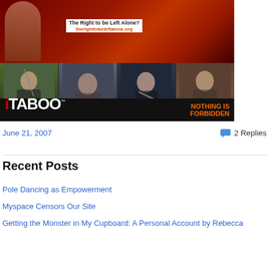[Figure (photo): Website banner for iTABOO - 'Your Hedonism Headquarter'. Top section shows red/orange background with text 'The Right to be Left Alone? therighttobeLeftalone.org'. Middle black bar shows iTABOO logo in white with red 'i', trademark symbol, and orange text 'NOTHING IS FORBIDDEN' on the right. Bottom row shows four photo strips of people.]
June 21, 2007
2 Replies
Recent Posts
Pole Dancing as Empowerment
Myspace Censors Our Site
Getting the Monster in My Cupboard: A Personal Account by Rebecca